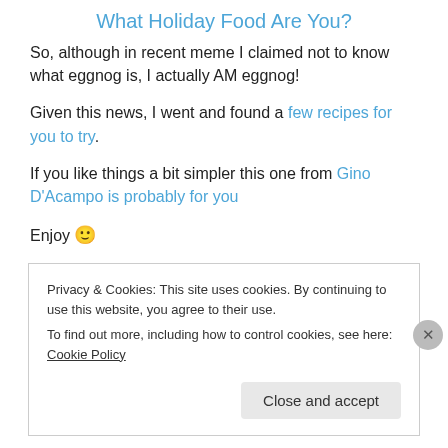What Holiday Food Are You?
So, although in recent meme I claimed not to know what eggnog is, I actually AM eggnog!
Given this news, I went and found a few recipes for you to try.
If you like things a bit simpler this one from Gino D'Acampo is probably for you
Enjoy 🙂
Privacy & Cookies: This site uses cookies. By continuing to use this website, you agree to their use.
To find out more, including how to control cookies, see here: Cookie Policy